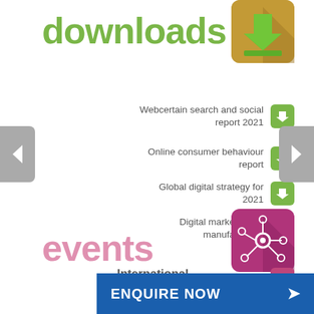downloads
[Figure (illustration): Green download icon — arrow pointing into a box, brown/tan background square with rounded corners]
Webcertain search and social report 2021
Online consumer behaviour report
Global digital strategy for 2021
Digital marketing for manufacturers
events
[Figure (illustration): Network/hub icon with connected nodes, pink/magenta background square with rounded corners]
International Search Summit Barcelona 17 Nov
International Search Summit
ENQUIRE NOW >